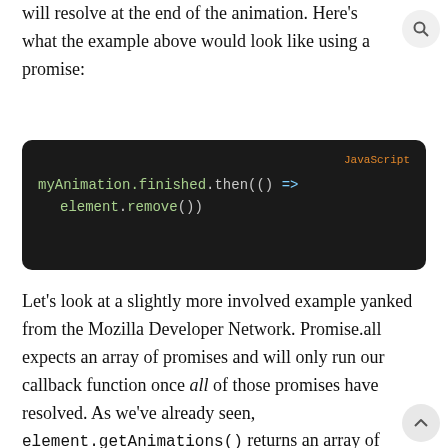will resolve at the end of the animation. Here's what the example above would look like using a promise:
[Figure (screenshot): Dark code block labeled 'JavaScript' showing: myAnimation.finished.then(() => element.remove())]
Let's look at a slightly more involved example yanked from the Mozilla Developer Network. Promise.all expects an array of promises and will only run our callback function once all of those promises have resolved. As we've already seen, element.getAnimations() returns an array of animation objects. We can map over all the animation objects in the array calling .finished on each of them, giving us the needed array of